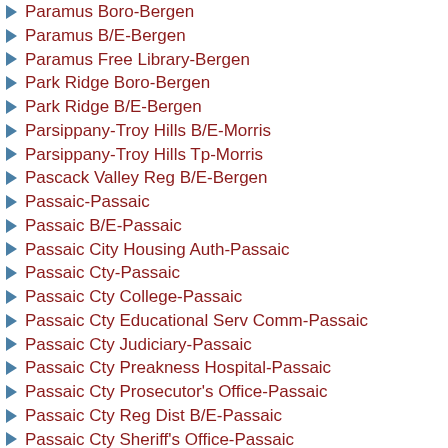Paramus Boro-Bergen
Paramus B/E-Bergen
Paramus Free Library-Bergen
Park Ridge Boro-Bergen
Park Ridge B/E-Bergen
Parsippany-Troy Hills B/E-Morris
Parsippany-Troy Hills Tp-Morris
Pascack Valley Reg B/E-Bergen
Passaic-Passaic
Passaic B/E-Passaic
Passaic City Housing Auth-Passaic
Passaic Cty-Passaic
Passaic Cty College-Passaic
Passaic Cty Educational Serv Comm-Passaic
Passaic Cty Judiciary-Passaic
Passaic Cty Preakness Hospital-Passaic
Passaic Cty Prosecutor's Office-Passaic
Passaic Cty Reg Dist B/E-Passaic
Passaic Cty Sheriff's Office-Passaic
Passaic Cty Soc/Services Bd-Passaic
Passaic Cty Supt/Elections-Passaic